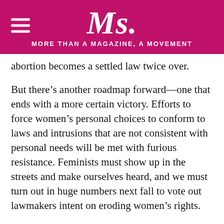Ms. MORE THAN A MAGAZINE, A MOVEMENT
abortion becomes a settled law twice over.
But there’s another roadmap forward—one that ends with a more certain victory. Efforts to force women’s personal choices to conform to laws and intrusions that are not consistent with personal needs will be met with furious resistance. Feminists must show up in the streets and make ourselves heard, and we must turn out in huge numbers next fall to vote out lawmakers intent on eroding women’s rights.
Anti-abortion lawmakers are doggedly poking holes in our rights. They’re insistent on smashing the legal frameworks that guarantee us our